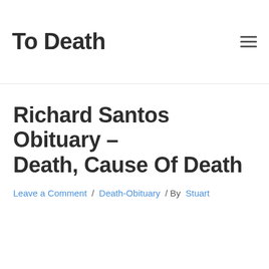To Death
Richard Santos Obituary – Death, Cause Of Death
Leave a Comment / Death-Obituary / By Stuart